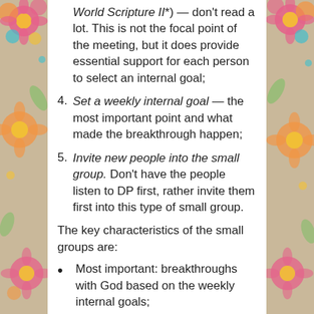World Scripture II*) — don't read a lot. This is not the focal point of the meeting, but it does provide essential support for each person to select an internal goal;
4. Set a weekly internal goal — the most important point and what made the breakthrough happen;
5. Invite new people into the small group. Don't have the people listen to DP first, rather invite them first into this type of small group.
The key characteristics of the small groups are:
Most important: breakthroughs with God based on the weekly internal goals;
Meet weekly;